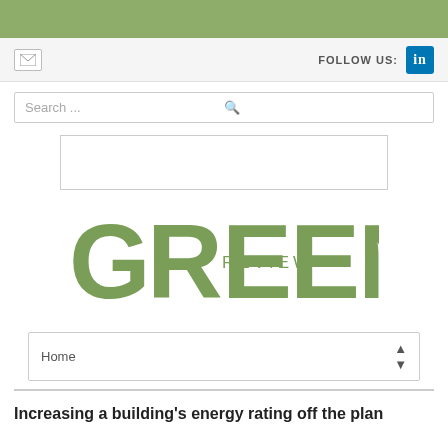[Figure (other): Green horizontal banner bar at top of page]
FOLLOW US: in
[Figure (screenshot): Search bar with placeholder text 'Search ...' and a magnifying glass icon]
[Figure (other): Advertisement placeholder box]
[Figure (logo): GREEN REVIEW logo in olive/green color with large stylized letters]
Home
Increasing a building's energy rating off the plan